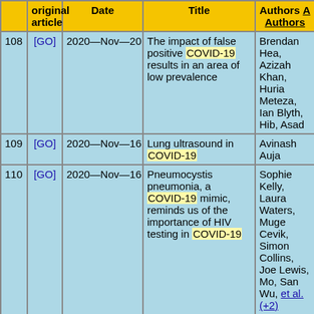|  | original article | Date | Title | Authors / All Authors |
| --- | --- | --- | --- | --- |
| 108 | [GO] | 2020—Nov—20 | The impact of false positive COVID-19 results in an area of low prevalence | Brendan Hea, Azizah Khan, Huria Meteza, Ian Blyth, Hib, Asad |
| 109 | [GO] | 2020—Nov—16 | Lung ultrasound in COVID-19 | Avinash Auja |
| 110 | [GO] | 2020—Nov—16 | Pneumocystis pneumonia, a COVID-19 mimic, reminds us of the importance of HIV testing in COVID-19 | Sophie Kelly, Laura Waters, Muge Cevik, Simon Collins, Joe Lewis, Mo, San Wu, et al. (+2) |
| 111 | [GO] | 2020—Nov—16 | Vitamin D deficiency and COVID-19 | David C Anderson, Da, S Grimes |
| 112 | [GO] | 2020—Nov—16 | Nosocomial COVID-19 on a green ward | Win Mar Soe, Aswathi Balakrishnan, Vedamurthy Adhiyaman |
| 113 | [GO] | 2020—Nov—16 | ... | ... |